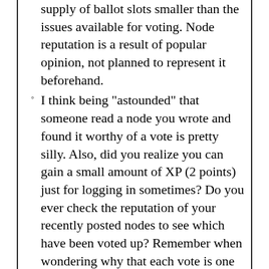supply of ballot slots smaller than the issues available for voting. Node reputation is a result of popular opinion, not planned to represent it beforehand.
I think being "astounded" that someone read a node you wrote and found it worthy of a vote is pretty silly. Also, did you realize you can gain a small amount of XP (2 points) just for logging in sometimes? Do you ever check the reputation of your recently posted nodes to see which have been voted up? Remember when wondering why that each vote is one vote, and that a reputation of +12 means twelve more people thought +1 than thought -1. It doesn't mean anyone in particular thought